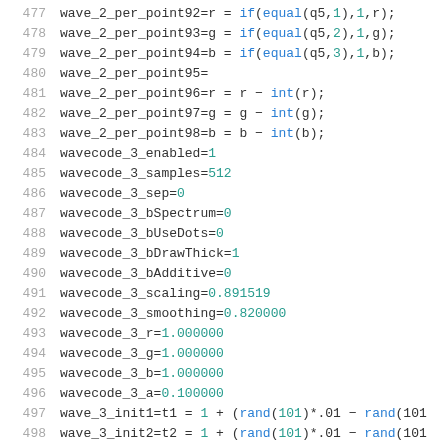477  wave_2_per_point92=r = if(equal(q5,1),1,r);
478  wave_2_per_point93=g = if(equal(q5,2),1,g);
479  wave_2_per_point94=b = if(equal(q5,3),1,b);
480  wave_2_per_point95=
481  wave_2_per_point96=r = r - int(r);
482  wave_2_per_point97=g = g - int(g);
483  wave_2_per_point98=b = b - int(b);
484  wavecode_3_enabled=1
485  wavecode_3_samples=512
486  wavecode_3_sep=0
487  wavecode_3_bSpectrum=0
488  wavecode_3_bUseDots=0
489  wavecode_3_bDrawThick=1
490  wavecode_3_bAdditive=0
491  wavecode_3_scaling=0.891519
492  wavecode_3_smoothing=0.820000
493  wavecode_3_r=1.000000
494  wavecode_3_g=1.000000
495  wavecode_3_b=1.000000
496  wavecode_3_a=0.100000
497  wave_3_init1=t1 = 1 + (rand(101)*.01 - rand(101
498  wave_3_init2=t2 = 1 + (rand(101)*.01 - rand(101